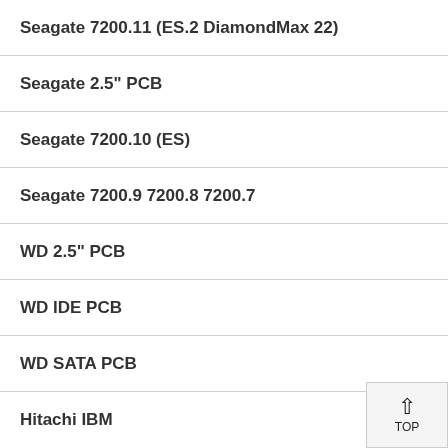Seagate 7200.11 (ES.2 DiamondMax 22)
Seagate 2.5" PCB
Seagate 7200.10 (ES)
Seagate 7200.9 7200.8 7200.7
WD 2.5" PCB
WD IDE PCB
WD SATA PCB
Hitachi IBM